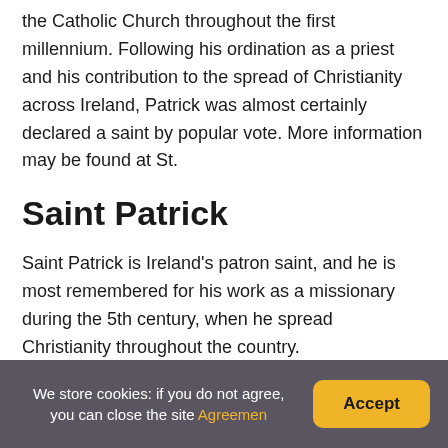the Catholic Church throughout the first millennium. Following his ordination as a priest and his contribution to the spread of Christianity across Ireland, Patrick was almost certainly declared a saint by popular vote. More information may be found at St.
Saint Patrick
Saint Patrick is Ireland's patron saint, and he is most remembered for his work as a missionary during the 5th century, when he spread Christianity throughout the country.
We store cookies: if you do not agree, you can close the site Agreemen